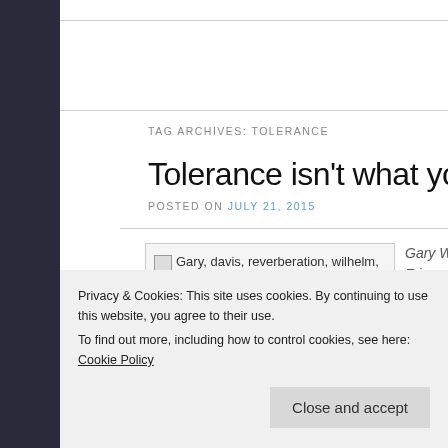TAG ARCHIVES: TOLERANCE
Tolerance isn't what you think it
POSTED ON JULY 21, 2015
[Figure (photo): Image placeholder with alt text: Gary, davis, reverberation, wilhelm, friedrich, hamlet, thesis, antithesis,]
Privacy & Cookies: This site uses cookies. By continuing to use this website, you agree to their use. To find out more, including how to control cookies, see here: Cookie Policy
Close and accept